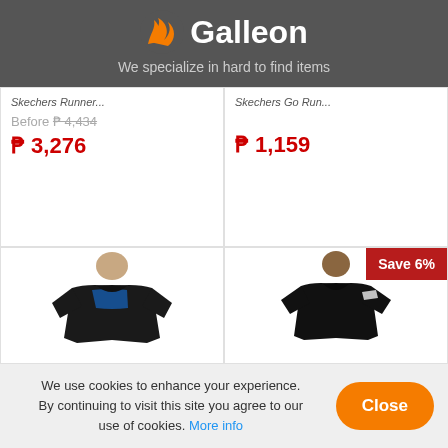[Figure (logo): Galleon logo with orange flame/bird icon and white text 'Galleon' on dark grey header background]
We specialize in hard to find items
Before ₱ 4,434
₱ 3,276
₱ 1,159
Save 6%
[Figure (photo): Person wearing a black long-sleeve athletic compression shirt with blue/red accent]
[Figure (photo): Person wearing a black athletic shirt with white accent details]
We use cookies to enhance your experience. By continuing to visit this site you agree to our use of cookies. More info